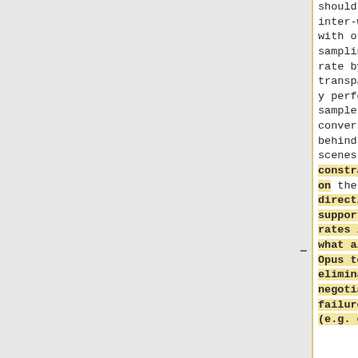should inter-work with other sampling rate by transparently performing sample rate conversion behind the scenes. The constraint on the directly supported rates is what allows Opus to eliminate negotiation failures (e.g. cases
should inter-work with other sampling rate by transparently performing sample rate conversion behind the scenes. It's generally preferable to run the output at 48kHz even when you know the original input was 44.1kHz because many